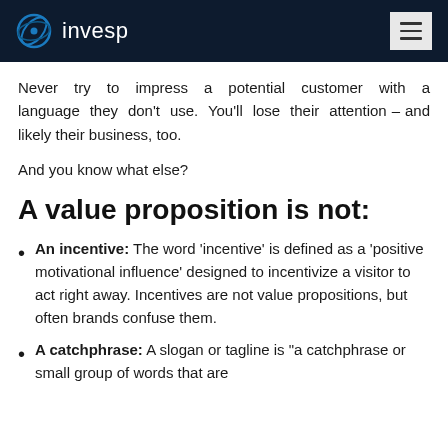invesp
Never try to impress a potential customer with a language they don’t use. You’ll lose their attention – and likely their business, too.
And you know what else?
A value proposition is not:
An incentive: The word ‘incentive’ is defined as a ‘positive motivational influence’ designed to incentivize a visitor to act right away. Incentives are not value propositions, but often brands confuse them.
A catchphrase: A slogan or tagline is “a catchphrase or small group of words that are…”